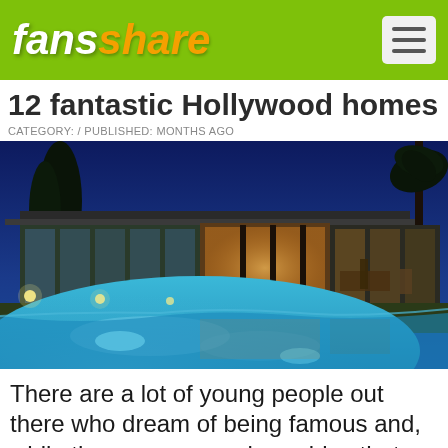fansshare
12 fantastic Hollywood homes
CATEGORY: / PUBLISHED: MONTHS AGO
[Figure (photo): Night photograph of a luxury Hollywood home with illuminated swimming pool in the foreground, modern mid-century architecture with floor-to-ceiling windows glowing warmly, palm trees and deep blue night sky in background.]
There are a lot of young people out there who dream of being famous and, while there are some downsides that come with